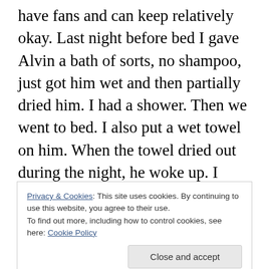have fans and can keep relatively okay. Last night before bed I gave Alvin a bath of sorts, no shampoo, just got him wet and then partially dried him. I had a shower. Then we went to bed. I also put a wet towel on him. When the towel dried out during the night, he woke up. I realized what the problem was grabbing the towel went into the bathroom and ran some coolish water soaking the towel. Covering him with it once again, he went back to sleep. I think that he knows what the towel represents now. I am grateful to have towels and water. There is still a breeze coming in through the office window and it is actually cool in here.
Privacy & Cookies: This site uses cookies. By continuing to use this website, you agree to their use. To find out more, including how to control cookies, see here: Cookie Policy
Close and accept
yard and cats. He was mooing at him and him was